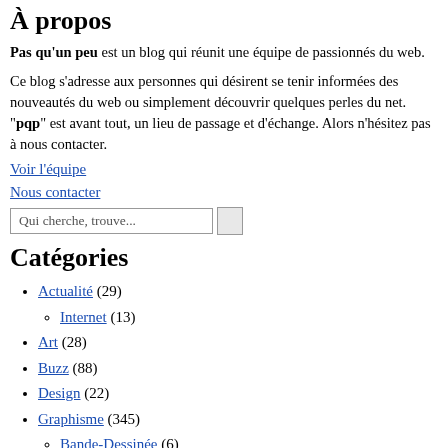À propos
Pas qu'un peu est un blog qui réunit une équipe de passionnés du web.
Ce blog s'adresse aux personnes qui désirent se tenir informées des nouveautés du web ou simplement découvrir quelques perles du net. "pqp" est avant tout, un lieu de passage et d'échange. Alors n'hésitez pas à nous contacter.
Voir l'équipe
Nous contacter
Catégories
Actualité (29)
Internet (13)
Art (28)
Buzz (88)
Design (22)
Graphisme (345)
Bande-Dessinée (6)